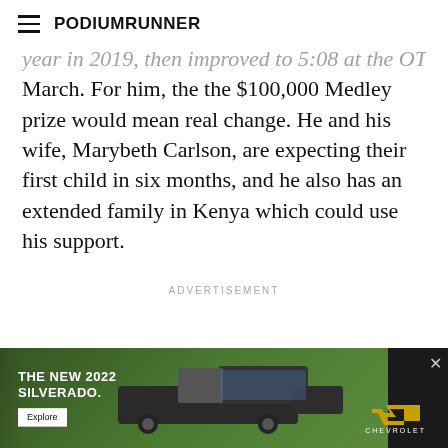PodiumRunner
year in 2019, then improved to 5:08 at the OTC Dallas last March. For him, the the $100,000 Medley prize would mean real change. He and his wife, Marybeth Carlson, are expecting their first child in six months, and he also has an extended family in Kenya which could use his support.
ADVERTISEMENT
[Figure (photo): Chevrolet advertisement banner showing 'THE NEW 2022 SILVERADO.' text with an Explore button, a truck image on a green/dark background, and the Chevrolet bowtie logo.]